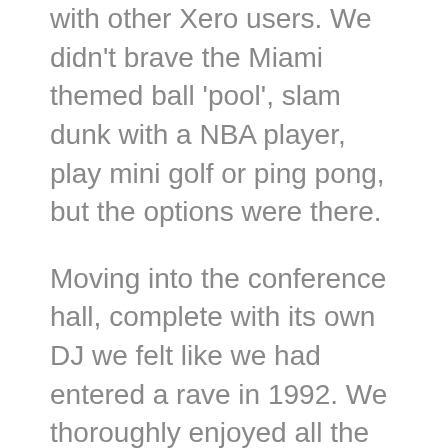with other Xero users. We didn't brave the Miami themed ball 'pool', slam dunk with a NBA player, play mini golf or ping pong, but the options were there.
Moving into the conference hall, complete with its own DJ we felt like we had entered a rave in 1992. We thoroughly enjoyed all the keynote speakers which ranged from a Professor discussing the future of Artificial Intelligence to Mark Manson telling us how to not give a f*&k. After lunch they offered a range of silent disco style breakout sessions. We had reviewed the sessions the night before and were excited with the impact the information would have on our practice and clients.